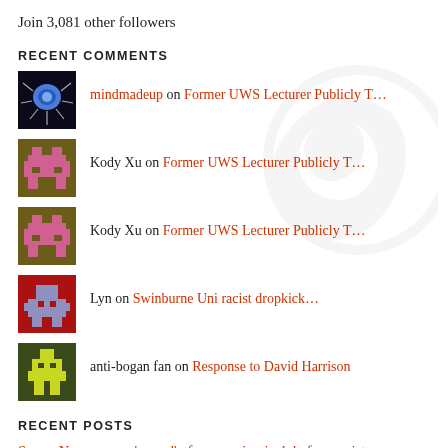Join 3,081 other followers
RECENT COMMENTS
mindmadeup on Former UWS Lecturer Publicly T...
Kody Xu on Former UWS Lecturer Publicly T...
Kody Xu on Former UWS Lecturer Publicly T...
Lyn on Swinburne Uni racist dropkick...
anti-bogan fan on Response to David Harrison
RECENT POSTS
Suong Nguyen was ‘scared’ of woman in niqab before racist